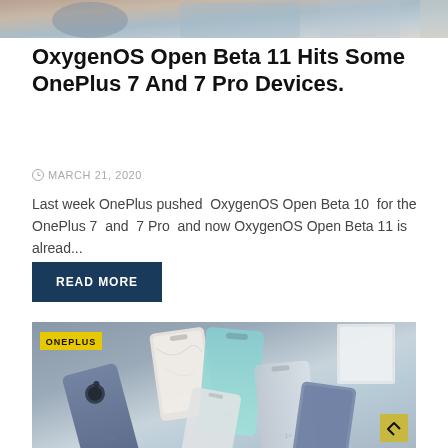[Figure (photo): Top portion of a OnePlus phone image (partial, cropped at top)]
OxygenOS Open Beta 11 Hits Some OnePlus 7 And 7 Pro Devices.
MARCH 21, 2020
Last week OnePlus pushed OxygenOS Open Beta 10 for the OnePlus 7 and 7 Pro and now OxygenOS Open Beta 11 is alread...
READ MORE
[Figure (photo): Multiple OnePlus 7 and 7 Pro smartphones arranged on a gray surface, showing various colors and finishes. A yellow ONEPLUS label badge is in the top-left corner. A scroll-to-top button is in the bottom-right corner.]